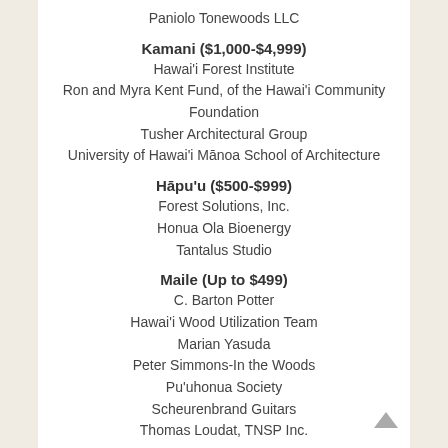Paniolo Tonewoods LLC
Kamani ($1,000-$4,999)
Hawai'i Forest Institute
Ron and Myra Kent Fund, of the Hawai'i Community Foundation
Tusher Architectural Group
University of Hawai'i Mānoa School of Architecture
Hāpu'u ($500-$999)
Forest Solutions, Inc.
Honua Ola Bioenergy
Tantalus Studio
Maile (Up to $499)
C. Barton Potter
Hawai'i Wood Utilization Team
Marian Yasuda
Peter Simmons-In the Woods
Pu'uhonua Society
Scheurenbrand Guitars
Thomas Loudat, TNSP Inc.
2020 Hawaii's Woodshow Sponsors